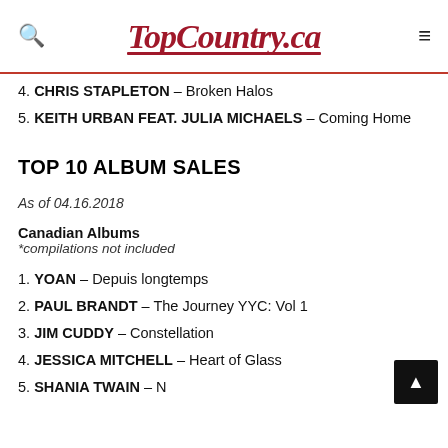TopCountry.ca
4. CHRIS STAPLETON – Broken Halos
5. KEITH URBAN FEAT. JULIA MICHAELS – Coming Home
TOP 10 ALBUM SALES
As of 04.16.2018
Canadian Albums
*compilations not included
1. YOAN – Depuis longtemps
2. PAUL BRANDT – The Journey YYC: Vol 1
3. JIM CUDDY – Constellation
4. JESSICA MITCHELL – Heart of Glass
5. SHANIA TWAIN – N...